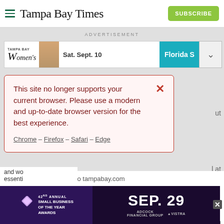Tampa Bay Times | SUBSCRIBE
ADVERTISEMENT
[Figure (screenshot): Tampa Bay Women's event advertisement banner with teal section showing 'Florida S...' and date 'Sat. Sept. 10']
This site no longer supports your current browser. Please use a modern and up-to-date browser version for the best experience.

Chrome – Firefox – Safari – Edge
Enjoy unlimited access to tampabay.com for only $11.75 $0.99 for the first month.
Subscribe | Log In
Interested in print delivery? Subscribe here →
[Figure (screenshot): 42nd Annual Small Business of the Year Awards advertisement banner — Sep. 29, sponsored by Adcock Financial Group and Vistra]